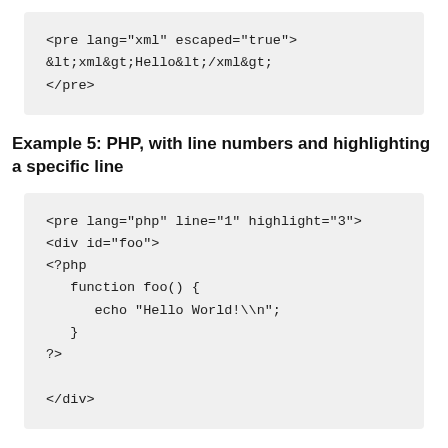<pre lang="xml" escaped="true">
&lt;xml&gt;Hello&lt;/xml&gt;
</pre>
Example 5: PHP, with line numbers and highlighting a specific line
<pre lang="php" line="1" highlight="3">
<div id="foo">
<?php
    function foo() {
        echo "Hello World!\\n";
    }
?>

</div>